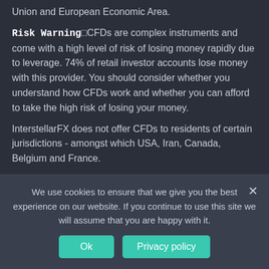Union and European Economic Area.
Risk Warning: CFDs are complex instruments and come with a high level of risk of losing money rapidly due to leverage. 74% of retail investor accounts lose money with this provider. You should consider whether you understand how CFDs work and whether you can afford to take the high risk of losing your money.
InterstellarFX does not offer CFDs to residents of certain jurisdictions - amongst which USA, Iran, Canada, Belgium and France.
Licenses and Authorizations: Interstellarfx.eu is owned and operated by “THE FIRST INTERSTELLAR CAPITAL LIMITED”. THE
We use cookies to ensure that we give you the best experience on our website. If you continue to use this site we will assume that you are happy with it.